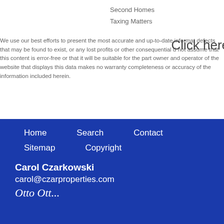Second Homes
Taxing Matters
Click here
We use our best efforts to present the most accurate and up-to-date informat... defects that may be found to exist, or any lost profits or other consequential d... not assume that this content is error-free or that it will be suitable for the part... owner and operator of the website that displays this data makes no warranty ... completeness or accuracy of the information included herein.
Home   Search   Contact   Sitemap   Copyright   Carol Czarkowski   carol@czarproperties.com